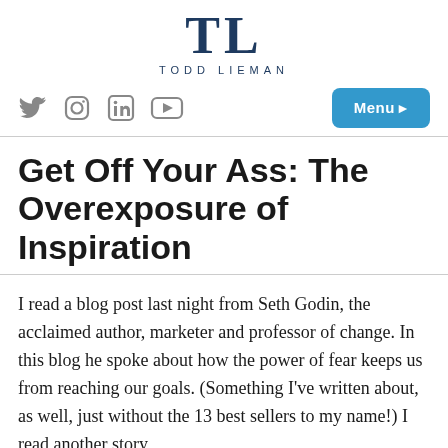[Figure (logo): Todd Lieman logo with large serif TL letters and name below]
[Figure (infographic): Social media icons: Twitter, Instagram, LinkedIn, YouTube; and a Menu button on the right]
Get Off Your Ass: The Overexposure of Inspiration
I read a blog post last night from Seth Godin, the acclaimed author, marketer and professor of change. In this blog he spoke about how the power of fear keeps us from reaching our goals. (Something I've written about, as well, just without the 13 best sellers to my name!) I read another story